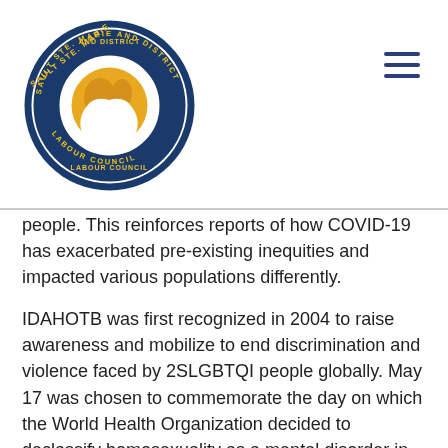Sault Ste. Marie and District Labour Council
people. This reinforces reports of how COVID-19 has exacerbated pre-existing inequities and impacted various populations differently.
IDAHOTB was first recognized in 2004 to raise awareness and mobilize to end discrimination and violence faced by 2SLGBTQI people globally. May 17 was chosen to commemorate the day on which the World Health Organization decided to declassify homosexuality as a mental disorder in 1990. Today, IDAHOTB is celebrated in over 130 countries around the world.
Send a tweet to Canada's Minister of Labour